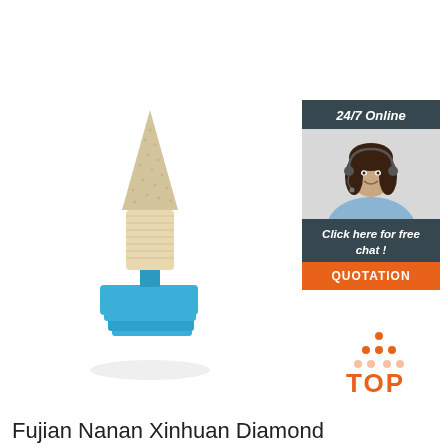[Figure (photo): Diamond-coated dental or industrial rotary tool bit with a tapered conical abrasive head (cream/beige colored) mounted on a blue square plastic holder/shank, photographed on white background.]
[Figure (infographic): Customer service banner: dark gray background with '24/7 Online' heading, photo of smiling woman with headset, text 'Click here for free chat!', and orange QUOTATION button.]
[Figure (logo): TOP logo: orange triangular arrangement of dots above the word TOP in orange text on white background.]
Fujian Nanan Xinhuan Diamond